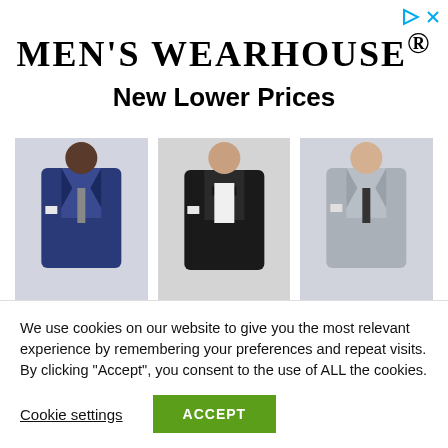MEN’S WEARHOUSE®
New Lower Prices
[Figure (photo): Three men modeling suits: first in navy blue suit, second in black tuxedo with bow tie, third in light gray suit]
We use cookies on our website to give you the most relevant experience by remembering your preferences and repeat visits. By clicking “Accept”, you consent to the use of ALL the cookies.
Cookie settings
ACCEPT